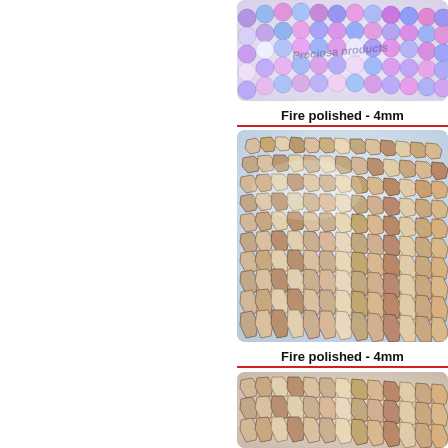[Figure (photo): Close-up photo of strands of purple and blue matte beads coiled together, with a watermark overlay reading 'Preciosa products']
Fire polished - 4mm
[Figure (photo): Close-up photo of multiple strands of faceted crystal/copper fire polished 4mm beads coiled together against a light blue background]
Fire polished - 4mm
[Figure (photo): Partial close-up photo of faceted fire polished beads with copper/bronze finish, partially visible at bottom of page]